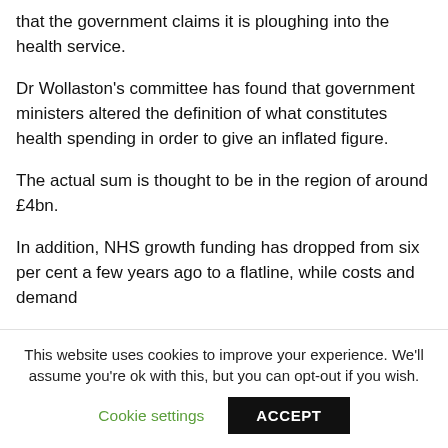that the government claims it is ploughing into the health service.
Dr Wollaston's committee has found that government ministers altered the definition of what constitutes health spending in order to give an inflated figure.
The actual sum is thought to be in the region of around £4bn.
In addition, NHS growth funding has dropped from six per cent a few years ago to a flatline, while costs and demand
This website uses cookies to improve your experience. We'll assume you're ok with this, but you can opt-out if you wish.
Cookie settings
ACCEPT